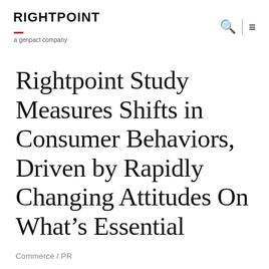RIGHTPOINT a genpact company
Rightpoint Study Measures Shifts in Consumer Behaviors, Driven by Rapidly Changing Attitudes On What’s Essential
Commerce / PR